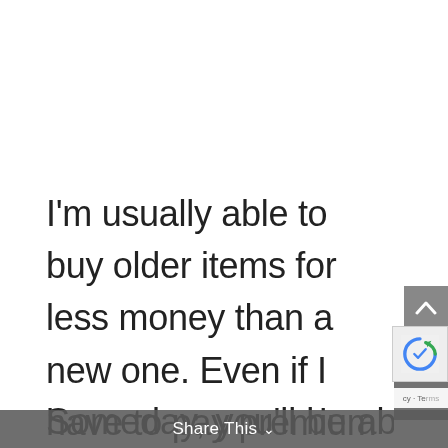I'm usually able to buy older items for less money than a new one. Even if I have to pay premium prices, it's worth it. Older USA-made products last just about forever. Someday, you'll be able to buy them
Share This ∨